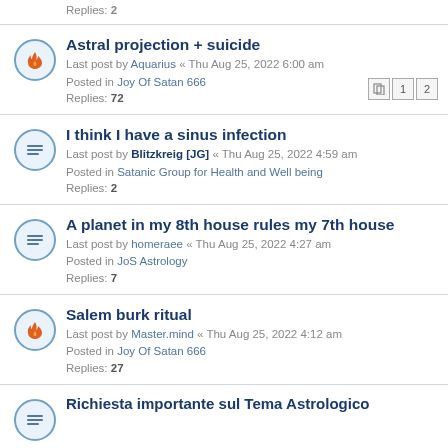Replies: 2
Astral projection + suicide
Last post by Aquarius « Thu Aug 25, 2022 6:00 am
Posted in Joy Of Satan 666
Replies: 72
I think I have a sinus infection
Last post by Blitzkreig [JG] « Thu Aug 25, 2022 4:59 am
Posted in Satanic Group for Health and Well being
Replies: 2
A planet in my 8th house rules my 7th house
Last post by homeraee « Thu Aug 25, 2022 4:27 am
Posted in JoS Astrology
Replies: 7
Salem burk ritual
Last post by Master.mind « Thu Aug 25, 2022 4:12 am
Posted in Joy Of Satan 666
Replies: 27
Richiesta importante sul Tema Astrologico